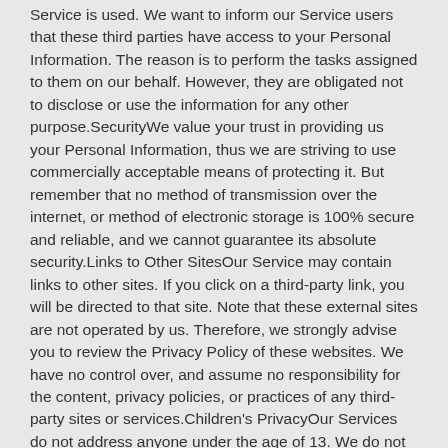Service is used. We want to inform our Service users that these third parties have access to your Personal Information. The reason is to perform the tasks assigned to them on our behalf. However, they are obligated not to disclose or use the information for any other purpose.SecurityWe value your trust in providing us your Personal Information, thus we are striving to use commercially acceptable means of protecting it. But remember that no method of transmission over the internet, or method of electronic storage is 100% secure and reliable, and we cannot guarantee its absolute security.Links to Other SitesOur Service may contain links to other sites. If you click on a third-party link, you will be directed to that site. Note that these external sites are not operated by us. Therefore, we strongly advise you to review the Privacy Policy of these websites. We have no control over, and assume no responsibility for the content, privacy policies, or practices of any third-party sites or services.Children's PrivacyOur Services do not address anyone under the age of 13. We do not knowingly collect personal identifiable information from children under 13. In the case we discover that a child under 13 has provided us with personal information, we immediately delete this from our servers. If you are a parent or guardian